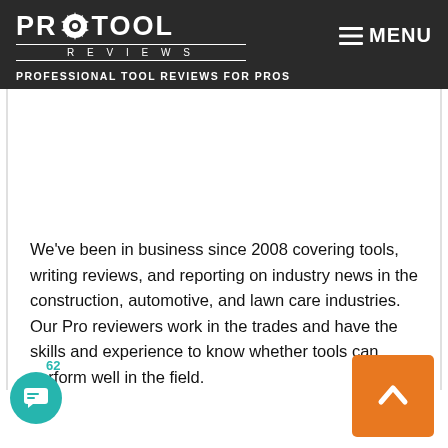PRO TOOL REVIEWS — PROFESSIONAL TOOL REVIEWS FOR PROS — MENU
[Figure (screenshot): Advertisement or blank content area (white space)]
We've been in business since 2008 covering tools, writing reviews, and reporting on industry news in the construction, automotive, and lawn care industries. Our Pro reviewers work in the trades and have the skills and experience to know whether tools can perform well in the field.